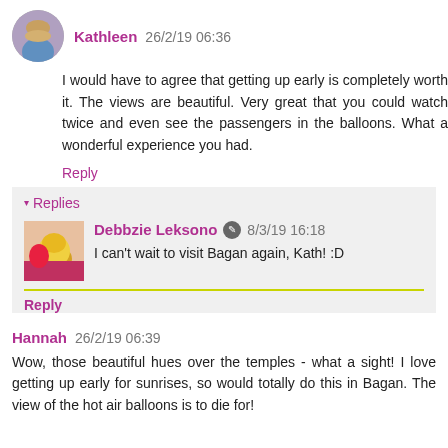[Figure (photo): Small circular avatar photo of a woman with blonde hair]
Kathleen  26/2/19 06:36
I would have to agree that getting up early is completely worth it. The views are beautiful. Very great that you could watch twice and even see the passengers in the balloons. What a wonderful experience you had.
Reply
Replies
[Figure (photo): Small square avatar photo showing flowers with pink/red colors]
Debbzie Leksono  8/3/19 16:18
I can't wait to visit Bagan again, Kath! :D
Reply
Hannah  26/2/19 06:39
Wow, those beautiful hues over the temples - what a sight! I love getting up early for sunrises, so would totally do this in Bagan. The view of the hot air balloons is to die for!